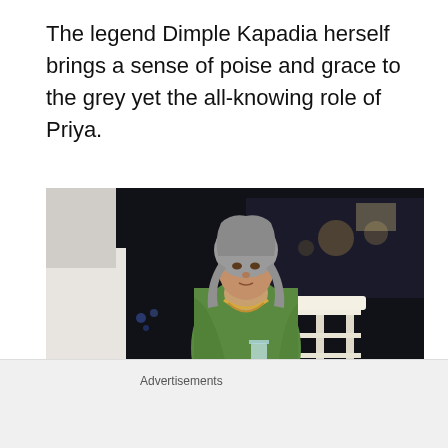The legend Dimple Kapadia herself brings a sense of poise and grace to the grey yet the all-knowing role of Priya.
[Figure (photo): A woman in a green saree with grey hair holding a glass, standing near a white railing at night. This is Dimple Kapadia as Priya.]
It’s a sigh of relief that Kapadia gets a significant
Advertisements